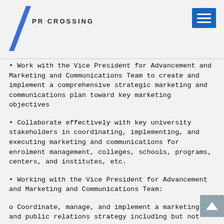PR CROSSING
• Work with the Vice President for Advancement and Marketing and Communications Team to create and implement a comprehensive strategic marketing and communications plan toward key marketing objectives
• Collaborate effectively with key university stakeholders in coordinating, implementing, and executing marketing and communications for enrolment management, colleges, schools, programs, centers, and institutes, etc.
• Working with the Vice President for Advancement and Marketing and Communications Team:
o Coordinate, manage, and implement a marketing and public relations strategy including but not limited to managing public and media relations
o Coordinate the implementation of a brand identity marketing plan